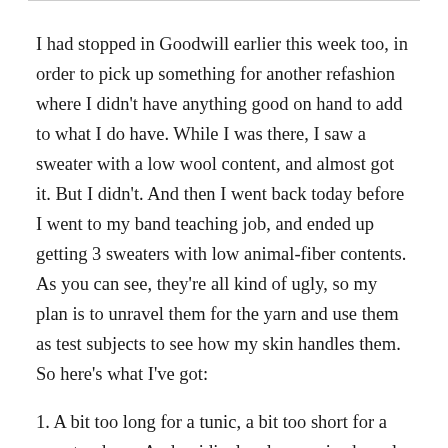I had stopped in Goodwill earlier this week too, in order to pick up something for another refashion where I didn't have anything good on hand to add to what I do have. While I was there, I saw a sweater with a low wool content, and almost got it. But I didn't. And then I went back today before I went to my band teaching job, and ended up getting 3 sweaters with low animal-fiber contents. As you can see, they're all kind of ugly, so my plan is to unravel them for the yarn and use them as test subjects to see how my skin handles them. So here's what I've got:
1. A bit too long for a tunic, a bit too short for a sweater dress. And a ridiculously oversized cowl that makes it look